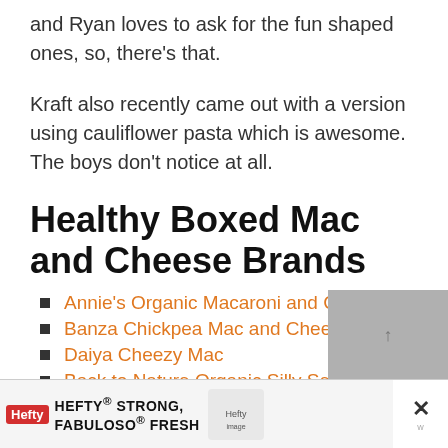and Ryan loves to ask for the fun shaped ones, so, there's that.
Kraft also recently came out with a version using cauliflower pasta which is awesome. The boys don't notice at all.
Healthy Boxed Mac and Cheese Brands
Annie's Organic Macaroni and Cheese
Banza Chickpea Mac and Cheese
Daiya Cheezy Mac
Back to Nature Organic Silly Sea Life Cheddar Macaroni and Cheese
[Figure (screenshot): Advertisement banner for Hefty Strong and Fabuloso Fresh products at the bottom of the page]